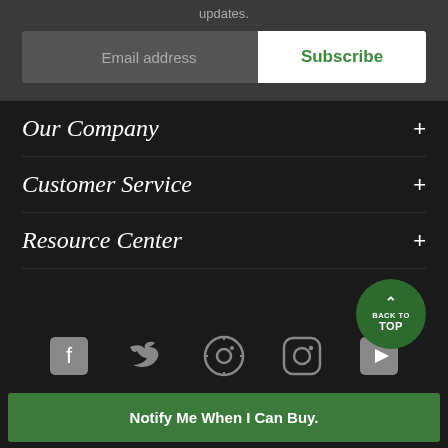updates.
Email address
Subscribe
Our Company
Customer Service
Resource Center
BACK TO TOP
[Figure (infographic): Social media icons: Facebook, Twitter, Pinterest, Instagram, YouTube]
Notify Me When I Can Buy.